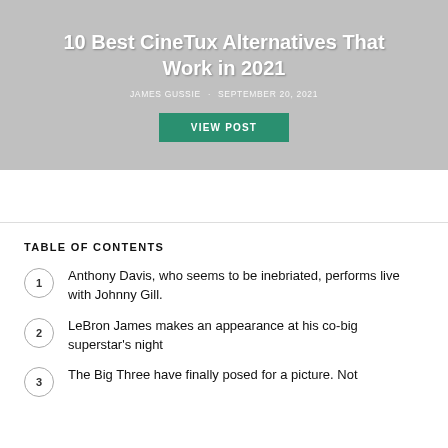10 Best CineTux Alternatives That Work in 2021
JAMES GUSSIE · SEPTEMBER 20, 2021
VIEW POST
TABLE OF CONTENTS
1 Anthony Davis, who seems to be inebriated, performs live with Johnny Gill.
2 LeBron James makes an appearance at his co-big superstar's night
3 The Big Three have finally posed for a picture. Not